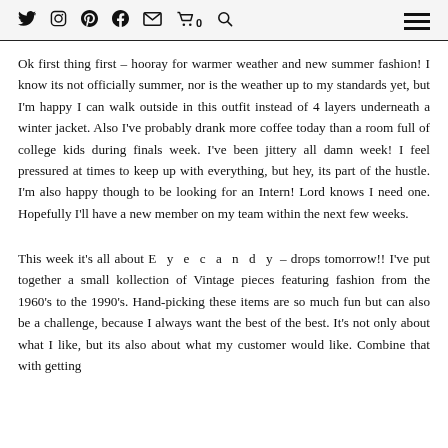Social media icons and navigation menu
Ok first thing first – hooray for warmer weather and new summer fashion! I know its not officially summer, nor is the weather up to my standards yet, but I'm happy I can walk outside in this outfit instead of 4 layers underneath a winter jacket. Also I've probably drank more coffee today than a room full of college kids during finals week. I've been jittery all damn week! I feel pressured at times to keep up with everything, but hey, its part of the hustle. I'm also happy though to be looking for an Intern! Lord knows I need one. Hopefully I'll have a new member on my team within the next few weeks.
This week it's all about E y e c a n d y – drops tomorrow!! I've put together a small kollection of Vintage pieces featuring fashion from the 1960's to the 1990's. Hand-picking these items are so much fun but can also be a challenge, because I always want the best of the best. It's not only about what I like, but its also about what my customer would like. Combine that with getting together the underlying principles, something that the...